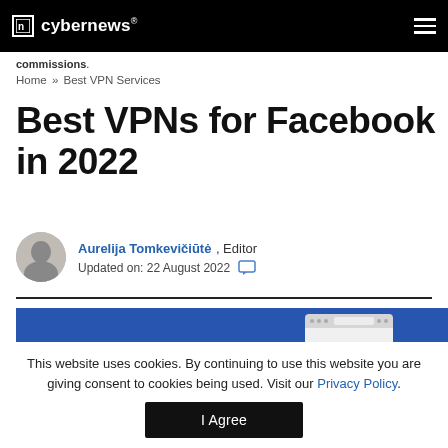cybernews®
commissions.
Home » Best VPN Services
Best VPNs for Facebook in 2022
Aurelija Tomkevičiūtė, Editor
Updated on: 22 August 2022
[Figure (screenshot): Blue background with browser mockup showing Facebook]
This website uses cookies. By continuing to use this website you are giving consent to cookies being used. Visit our Privacy Policy.